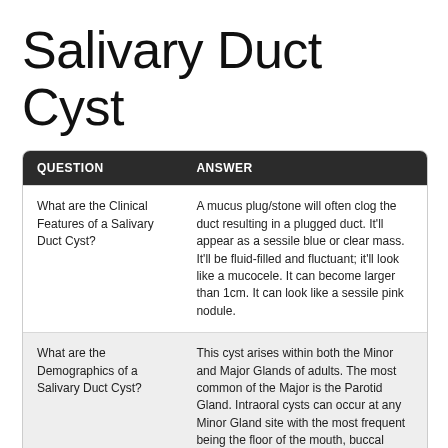Salivary Duct Cyst
| QUESTION | ANSWER |
| --- | --- |
| What are the Clinical Features of a Salivary Duct Cyst? | A mucus plug/stone will often clog the duct resulting in a plugged duct. It'll appear as a sessile blue or clear mass. It'll be fluid-filled and fluctuant; it'll look like a mucocele. It can become larger than 1cm. It can look like a sessile pink nodule. |
| What are the Demographics of a Salivary Duct Cyst? | This cyst arises within both the Minor and Major Glands of adults. The most common of the Major is the Parotid Gland. Intraoral cysts can occur at any Minor Gland site with the most frequent being the floor of the mouth, buccal mucosa, and the lips. |
| What are the Microscopic Features of a Salivary Duct Cyst? | It will look parakeratotic, acanthotic, and show normal pattern of maturation. In the submucosa: there are large dilated ductal structures, occasional mucus cells, and large pools of inspissated (thick) mucin containing inflammatory cells. |